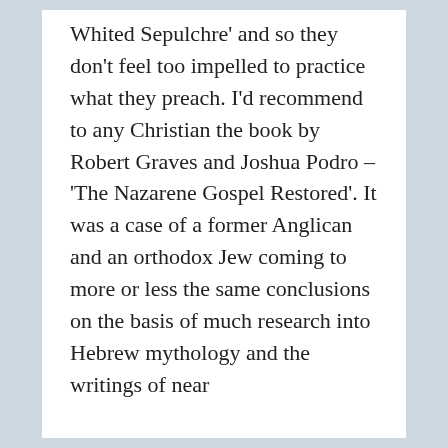Whited Sepulchre' and so they don't feel too impelled to practice what they preach. I'd recommend to any Christian the book by Robert Graves and Joshua Podro – 'The Nazarene Gospel Restored'. It was a case of a former Anglican and an orthodox Jew coming to more or less the same conclusions on the basis of much research into Hebrew mythology and the writings of near